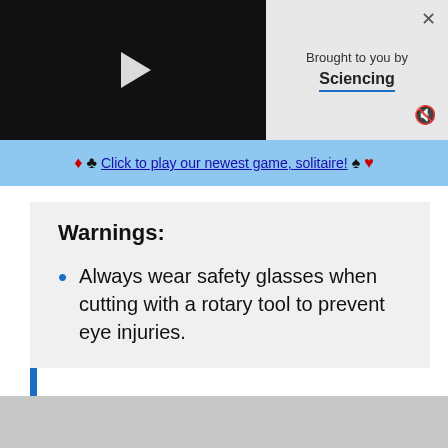[Figure (screenshot): Black video player with play button triangle in center]
Brought to you by
Sciencing
♦ ♣ Click to play our newest game, solitaire! ♠ ♥
Warnings:
Always wear safety glasses when cutting with a rotary tool to prevent eye injuries.